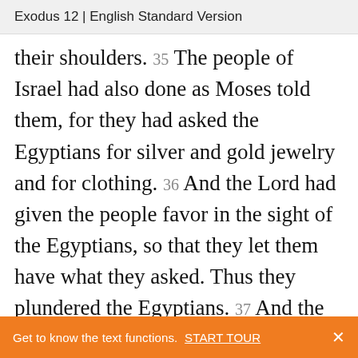Exodus 12 | English Standard Version
their shoulders. 35 The people of Israel had also done as Moses told them, for they had asked the Egyptians for silver and gold jewelry and for clothing. 36 And the Lord had given the people favor in the sight of the Egyptians, so that they let them have what they asked. Thus they plundered the Egyptians. 37 And the people of Israel journeyed from Rameses to Succoth, about six hundred thousand
Get to know the text functions. START TOUR ×